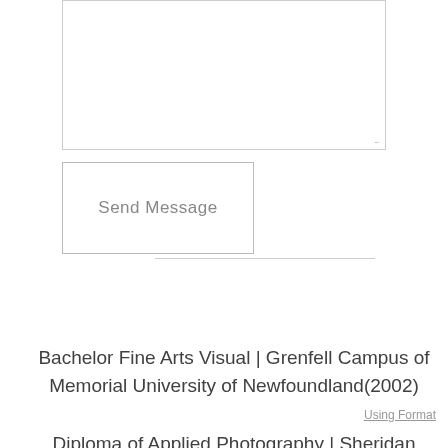[Figure (screenshot): A textarea input box with a resize handle in the bottom-right corner]
Send Message
[Figure (other): A horizontal divider line]
Bachelor Fine Arts Visual | Grenfell Campus of Memorial University of Newfoundland(2002)
Using Format
Diploma of Applied Photography | Sheridan